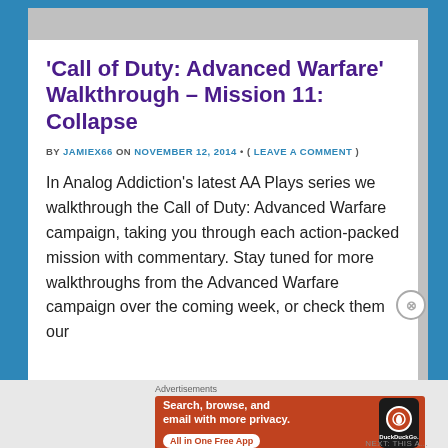‘Call of Duty: Advanced Warfare’ Walkthrough – Mission 11: Collapse
BY JAMIEX66 ON NOVEMBER 12, 2014 • ( LEAVE A COMMENT )
In Analog Addiction’s latest AA Plays series we walkthrough the Call of Duty: Advanced Warfare campaign, taking you through each action-packed mission with commentary. Stay tuned for more walkthroughs from the Advanced Warfare campaign over the coming week, or check them our
[Figure (screenshot): DuckDuckGo advertisement banner with orange background showing phone mockup and text: Search, browse, and email with more privacy. All in One Free App. DuckDuckGo.]